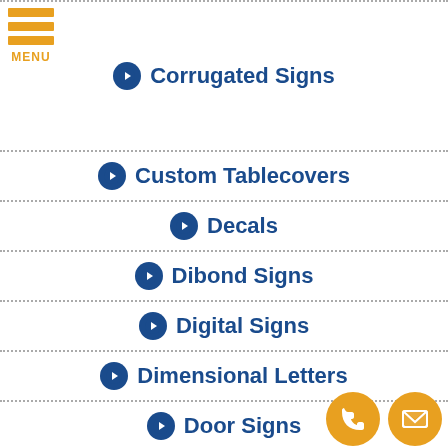[Figure (logo): Orange hamburger menu icon with three horizontal bars and MENU label]
Corrugated Signs
Custom Tablecovers
Decals
Dibond Signs
Digital Signs
Dimensional Letters
Door Signs
Electronic Signs
[Figure (illustration): Phone icon in orange circle and email/envelope icon in orange circle, bottom right corner]